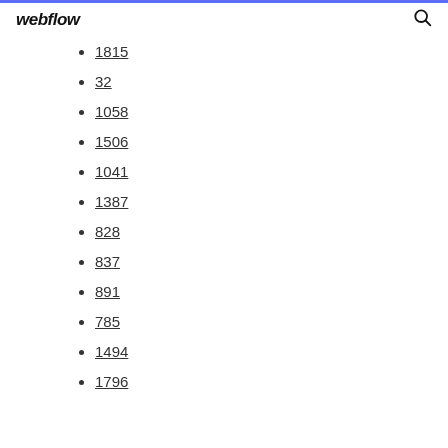webflow
1815
32
1058
1506
1041
1387
828
837
891
785
1494
1796